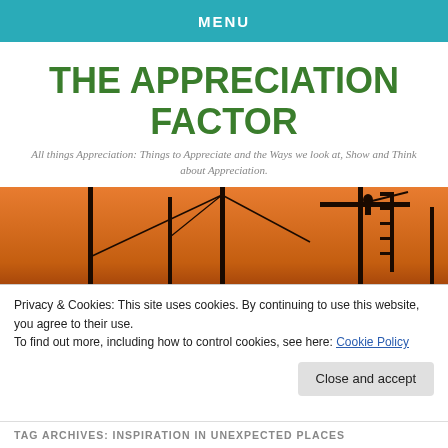MENU
THE APPRECIATION FACTOR
All things Appreciation: Things to Appreciate and the Ways we look at, Show and Think about Appreciation.
[Figure (photo): Silhouettes of cranes and masts against an orange sunset sky]
Privacy & Cookies: This site uses cookies. By continuing to use this website, you agree to their use.
To find out more, including how to control cookies, see here: Cookie Policy
Close and accept
TAG ARCHIVES: INSPIRATION IN UNEXPECTED PLACES